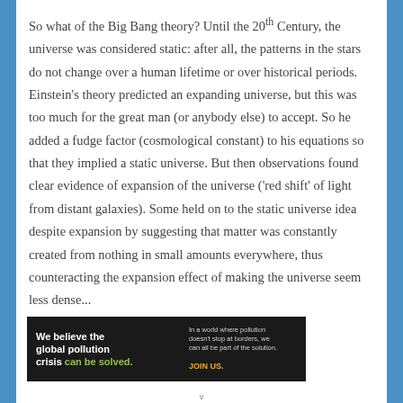So what of the Big Bang theory? Until the 20th Century, the universe was considered static: after all, the patterns in the stars do not change over a human lifetime or over historical periods. Einstein's theory predicted an expanding universe, but this was too much for the great man (or anybody else) to accept. So he added a fudge factor (cosmological constant) to his equations so that they implied a static universe. But then observations found clear evidence of expansion of the universe ('red shift' of light from distant galaxies). Some held on to the static universe idea despite expansion by suggesting that matter was constantly created from nothing in small amounts everywhere, thus counteracting the expansion effect of making the universe seem less dense...
[Figure (other): Advertisement banner for Pure Earth organization. Left section dark background with bold white text 'We believe the global pollution crisis can be solved.' with 'can be solved.' in green. Middle section with small white text 'In a world where pollution doesn't stop at borders, we can all be part of the solution.' and yellow bold text 'JOIN US.' Right section with Pure Earth logo (diamond/chevron shapes in gold/green) and bold white text 'PURE EARTH'.]